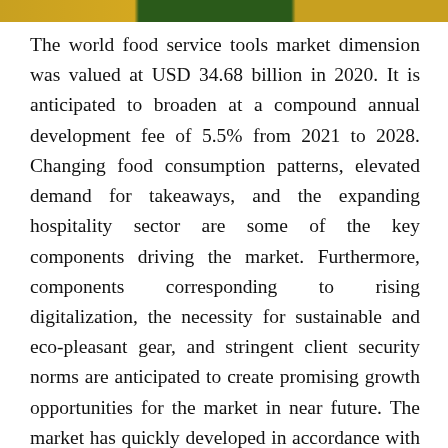[Figure (photo): Decorative image strip at the top of the page showing food-related imagery in yellow/gold and dark green colors]
The world food service tools market dimension was valued at USD 34.68 billion in 2020. It is anticipated to broaden at a compound annual development fee of 5.5% from 2021 to 2028. Changing food consumption patterns, elevated demand for takeaways, and the expanding hospitality sector are some of the key components driving the market. Furthermore, components corresponding to rising digitalization, the necessity for sustainable and eco-pleasant gear, and stringent client security norms are anticipated to create promising growth opportunities for the market in near future. The market has quickly developed in accordance with the altering needs of purchasers for outfitting their kitchen spaces. Changing